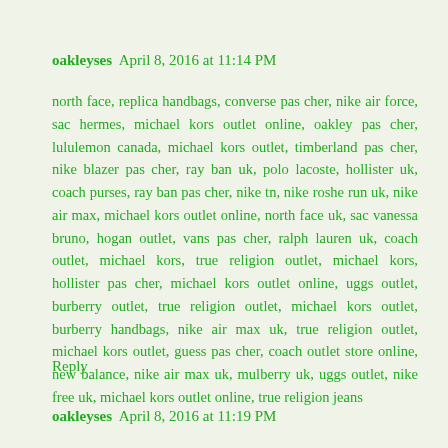oakleyses  April 8, 2016 at 11:14 PM
north face, replica handbags, converse pas cher, nike air force, sac hermes, michael kors outlet online, oakley pas cher, lululemon canada, michael kors outlet, timberland pas cher, nike blazer pas cher, ray ban uk, polo lacoste, hollister uk, coach purses, ray ban pas cher, nike tn, nike roshe run uk, nike air max, michael kors outlet online, north face uk, sac vanessa bruno, hogan outlet, vans pas cher, ralph lauren uk, coach outlet, michael kors, true religion outlet, michael kors, hollister pas cher, michael kors outlet online, uggs outlet, burberry outlet, true religion outlet, michael kors outlet, burberry handbags, nike air max uk, true religion outlet, michael kors outlet, guess pas cher, coach outlet store online, new balance, nike air max uk, mulberry uk, uggs outlet, nike free uk, michael kors outlet online, true religion jeans
Reply
oakleyses  April 8, 2016 at 11:19 PM